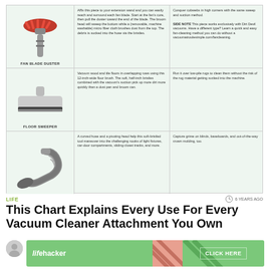[Figure (infographic): Vacuum cleaner attachments chart with three rows: Fan Blade Duster, Floor Sweeper, and curved hose tool. Each row shows an image, primary description text, and secondary use text.]
LIFE
6 YEARS AGO
This Chart Explains Every Use For Every Vacuum Cleaner Attachment You Own
[Figure (advertisement): Lifehacker advertisement banner with green background and CLICK HERE button]